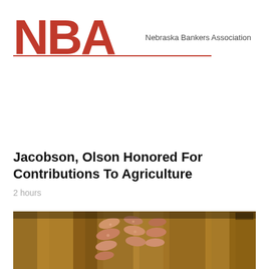[Figure (logo): Nebraska Bankers Association logo with large red NBA letters and organization name]
Jacobson, Olson Honored For Contributions To Agriculture
2 hours
[Figure (photo): Close-up photograph of soybean pods in a field with warm golden-brown tones]